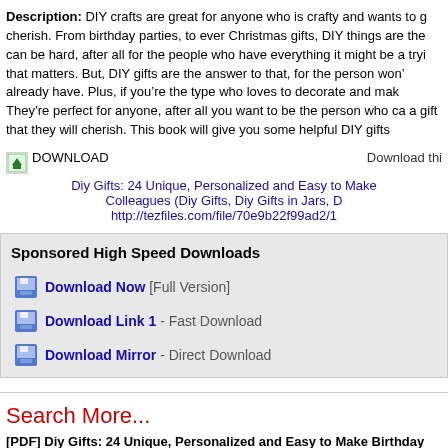Description: DIY crafts are great for anyone who is crafty and wants to g… cherish. From birthday parties, to ever Christmas gifts, DIY things are the… can be hard, after all for the people who have everything it might be a tryi… that matters. But, DIY gifts are the answer to that, for the person won't… already have. Plus, if you're the type who loves to decorate and mak… They're perfect for anyone, after all you want to be the person who c… a gift that they will cherish. This book will give you some helpful DIY gifts
[Figure (other): Download icon (green arrow image placeholder) with text 'DOWNLOAD' and 'Download thi...' on the right, with links to Diy Gifts book and tezfiles URL]
Sponsored High Speed Downloads
Download Now [Full Version]
Download Link 1 - Fast Download
Download Mirror - Direct Download
Search More...
[PDF] Diy Gifts: 24 Unique, Personalized and Easy to Make Birthday Colleagues (Diy Gifts, Diy Gifts in Jars, Diy Gifts Books)